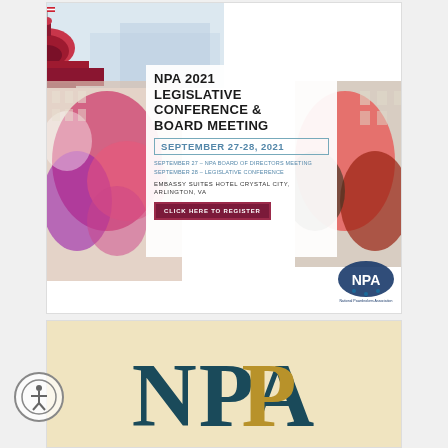[Figure (illustration): NPA 2021 Legislative Conference & Board Meeting advertisement banner. Features US Capitol building at top, colorful paint splashes on sides, white center with event title 'NPA 2021 LEGISLATIVE CONFERENCE & BOARD MEETING', date 'SEPTEMBER 27-28, 2021', schedule details (September 27 - NPA Board of Directors Meeting, September 28 - Legislative Conference), location 'EMBASSY SUITES HOTEL CRYSTAL CITY, ARLINGTON, VA', a dark red 'CLICK HERE TO REGISTER' button, and NPA (National Pawnbrokers Association) logo at bottom right.]
[Figure (logo): NPA (National Pawnbrokers Association) logo on tan/cream background. Large NPA letters in dark teal and gold colors.]